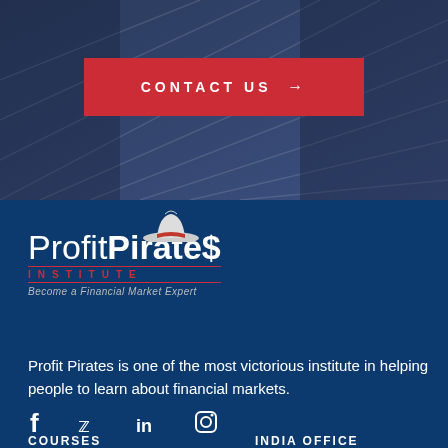[Figure (infographic): Dark blue architectural background with diagonal geometric lines]
CONTACT US →
[Figure (logo): Profit Pirates Institute logo with pirate hat, bold text, and tagline 'Become a Financial Market Expert']
Profit Pirates is one of the most victorious institute in helping people to learn about financial markets.
[Figure (infographic): Social media icons: Facebook, Twitter, LinkedIn, Instagram]
COURSES
INDIA OFFICE